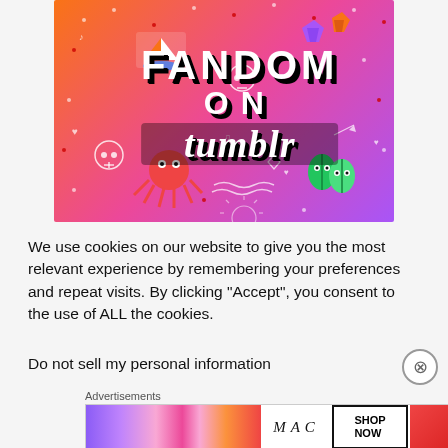[Figure (illustration): Fandom on Tumblr promotional image with orange-to-purple gradient background, white doodle decorations (skulls, hearts, music notes, arrows, stars), stickers of a sailboat, octopus, gems, leaf characters, and bold text reading FANDOM ON tumblr]
We use cookies on our website to give you the most relevant experience by remembering your preferences and repeat visits. By clicking “Accept”, you consent to the use of ALL the cookies.
Do not sell my personal information
Advertisements
[Figure (photo): MAC Cosmetics advertisement banner showing colorful lipsticks on left, MAC logo in center, and SHOP NOW button on right]